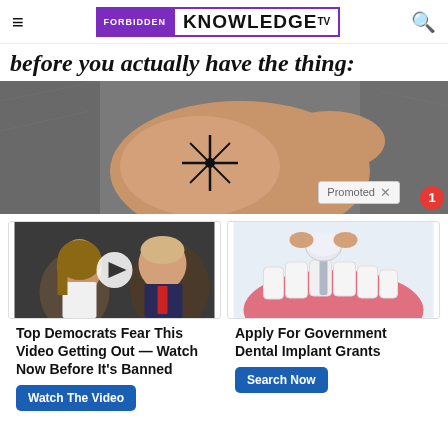FORBIDDEN KNOWLEDGE TV
before you actually have the thing:
[Figure (photo): Close-up photo of a human ankle/foot with a dark star-burst tattoo mark on the ankle, fabric/denim background. A 'Promoted X' badge appears in the lower-right corner with a red notification badge showing '1'.]
[Figure (photo): Thumbnail of two people (woman with long hair in white, man in suit with red tie) with a video play button overlay. Ad for political video.]
Top Democrats Fear This Video Getting Out — Watch Now Before It's Banned
Watch The Video
[Figure (illustration): 3D illustration of dental implant with crown being placed into gum/teeth model. Ad for government dental implants.]
Apply For Government Dental Implant Grants
Search Now